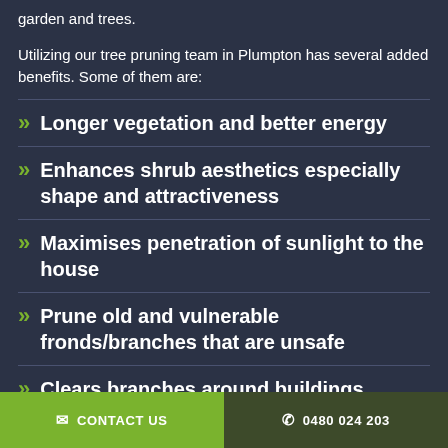garden and trees.
Utilizing our tree pruning team in Plumpton has several added benefits. Some of them are:
Longer vegetation and better energy
Enhances shrub aesthetics especially shape and attractiveness
Maximises penetration of sunlight to the house
Prune old and vulnerable fronds/branches that are unsafe
Clears branches around buildings
CONTACT US   0480 024 203